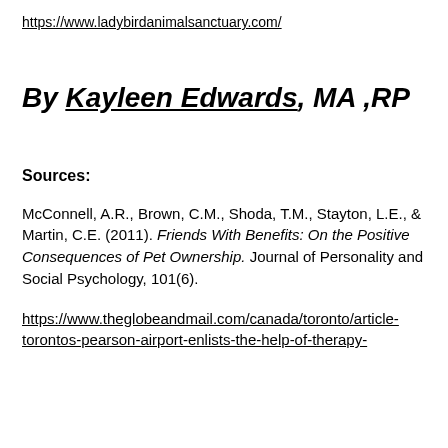https://www.ladybirdanimalsanctuary.com/
By Kayleen Edwards, MA ,RP
Sources:
McConnell, A.R., Brown, C.M., Shoda, T.M., Stayton, L.E., & Martin, C.E. (2011). Friends With Benefits: On the Positive Consequences of Pet Ownership. Journal of Personality and Social Psychology, 101(6).
https://www.theglobeandmail.com/canada/toronto/article-torontos-pearson-airport-enlists-the-help-of-therapy-